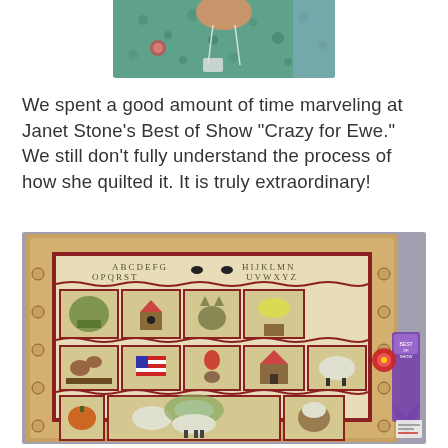[Figure (photo): Partial photo of a person wearing a teal/green patterned top with a lanyard/badge, cropped to show neck and shoulders area]
We spent a good amount of time marveling at Janet Stone’s Best of Show “Crazy for Ewe.” We still don’t fully understand the process of how she quilted it. It is truly extraordinary!
[Figure (photo): Photo of Janet Stone’s Best of Show quilt titled 'Crazy for Ewe' — a large, detailed sampler quilt with alphabet letters at the top, multiple applique blocks showing animals, birds, flowers, a birdhouse, cat, flag, house, pumpkin, sheep, and other folk art motifs, surrounded by decorative borders. A purple Best of Show ribbon is visible on the right side.]